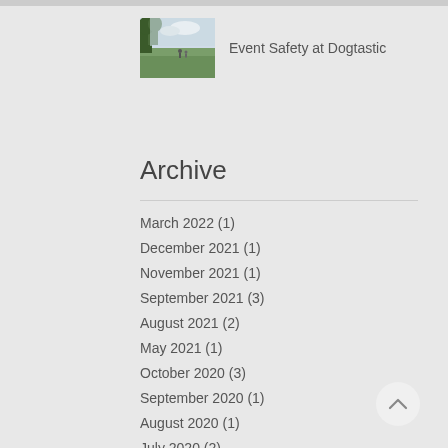[Figure (photo): Thumbnail photo of a grassy field/park scene with trees and people, associated with the post 'Event Safety at Dogtastic']
Event Safety at Dogtastic
Archive
March 2022 (1)
December 2021 (1)
November 2021 (1)
September 2021 (3)
August 2021 (2)
May 2021 (1)
October 2020 (3)
September 2020 (1)
August 2020 (1)
July 2020 (2)
December 2019 (2)